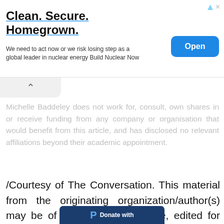[Figure (screenshot): Advertisement banner: 'Clean. Secure. Homegrown.' with blue underline title, body text 'We need to act now or we risk losing step as a global leader in nuclear energy Build Nuclear Now', and a blue 'Open' button on the right.]
Michelle Baddeley does not work for, consult, own shares in or receive funding from any company or organisation that would benefit from this article, and has disclosed no relevant affiliations beyond their academic appointment.
/Courtesy of The Conversation. This material from the originating organization/author(s) may be of a point-in-time nature, edited for clarity, style and length. The views and opinions expressed are those of the author(s).
[Figure (screenshot): Partial 'Donate with PayPal' button in dark blue at the bottom of the page.]